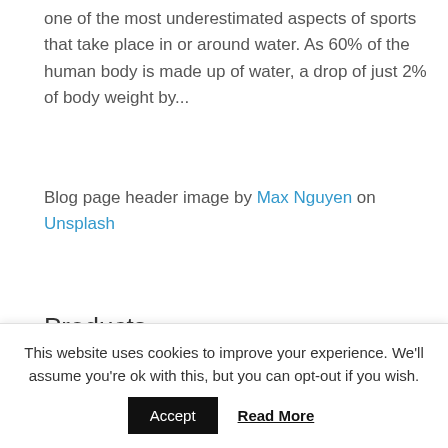one of the most underestimated aspects of sports that take place in or around water. As 60% of the human body is made up of water, a drop of just 2% of body weight by...
Blog page header image by Max Nguyen on Unsplash
Products
This website uses cookies to improve your experience. We'll assume you're ok with this, but you can opt-out if you wish.